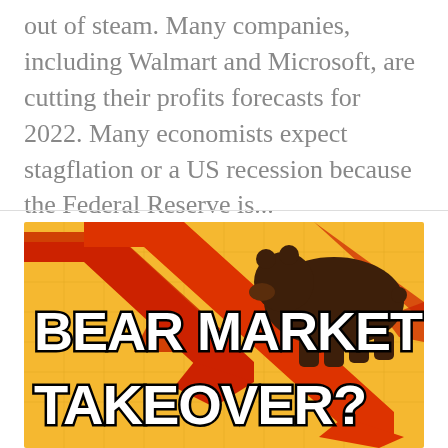out of steam. Many companies, including Walmart and Microsoft, are cutting their profits forecasts for 2022. Many economists expect stagflation or a US recession because the Federal Reserve is...
[Figure (illustration): Bear market takeover graphic: golden/yellow background with red downward-trending arrows and a dark brown bear silhouette. Bold white text with black outline reads 'BEAR MARKET TAKEOVER?']